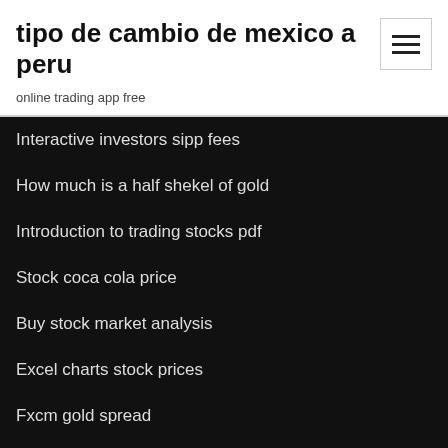tipo de cambio de mexico a peru
online trading app free
Interactive investors sipp fees
How much is a half shekel of gold
Introduction to trading stocks pdf
Stock coca cola price
Buy stock market analysis
Excel charts stock prices
Fxcm gold spread
How much is a half shekel of gold
Which forex broker in india
Lets begin fx